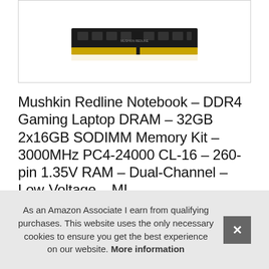[Figure (photo): A DDR4 SODIMM RAM stick shown close-up from above, with gold contacts visible at the bottom, displayed inside a white bordered product image box.]
Mushkin Redline Notebook – DDR4 Gaming Laptop DRAM – 32GB 2x16GB SODIMM Memory Kit – 3000MHz PC4-24000 CL-16 – 260-pin 1.35V RAM – Dual-Channel – Low-Voltage – MI
#ad
As an Amazon Associate I earn from qualifying purchases. This website uses the only necessary cookies to ensure you get the best experience on our website. More information